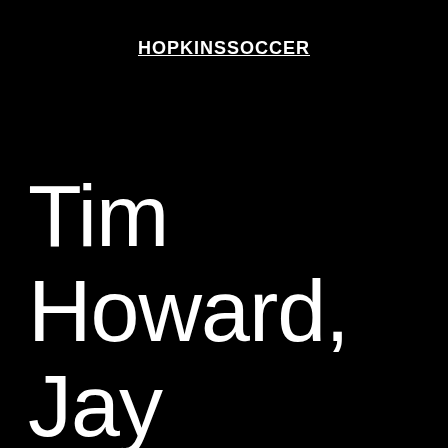HOPKINSSOCCER
Tim Howard, Jay Demerit discuss growing